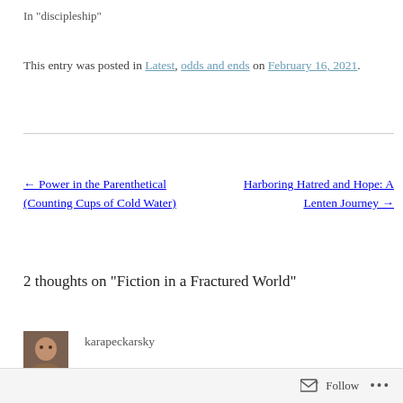In "discipleship"
This entry was posted in Latest, odds and ends on February 16, 2021.
← Power in the Parenthetical (Counting Cups of Cold Water)
Harboring Hatred and Hope: A Lenten Journey →
2 thoughts on "Fiction in a Fractured World"
karapeckarsky
Follow ...